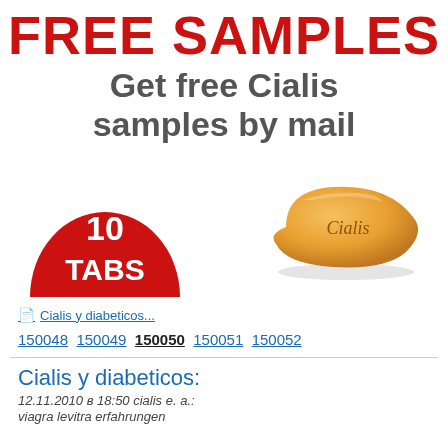FREE SAMPLES
Get free Cialis samples by mail
[Figure (illustration): Red semicircle badge with text '10 TABS' and an orange oval Cialis pill with 'Cialis' embossed on it]
Cialis y diabeticos...
150048 150049 150050 150051 150052
Cialis y diabeticos:
12.11.2010 в 18:50 cialis e. a.:
viagra levitra erfahrungen